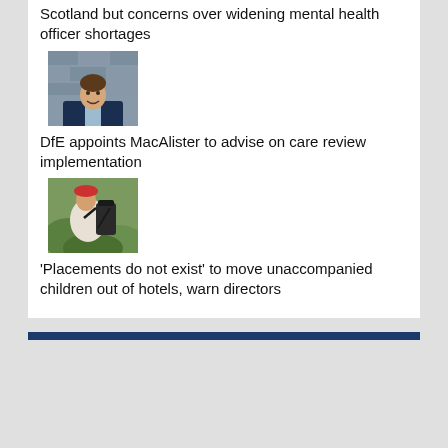Scotland but concerns over widening mental health officer shortages
[Figure (photo): Headshot of a young man in a dark blue suit jacket, smiling, against a stone wall background]
DfE appoints MacAlister to advise on care review implementation
[Figure (photo): Photo of a person carrying a backpack, outdoors with foliage in the background]
‘Placements do not exist’ to move unaccompanied children out of hotels, warn directors